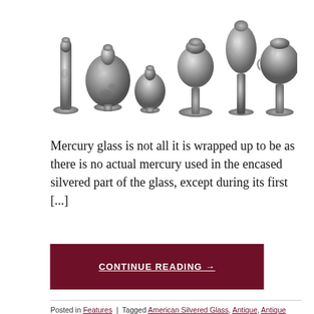[Figure (photo): Collection of mercury glass silvered vases and vessels of various shapes and sizes, displayed on a white background.]
Mercury glass is not all it is wrapped up to be as there is no actual mercury used in the encased silvered part of the glass, except during its first [...]
CONTINUE READING →
Posted in Features | Tagged American Silvered Glass, Antique, Antique Glass, Antique Shows, auction, Bohemia, Boston, Boston Silver Glass Company, British Silvered Glass, Butler's ball, Crystal Palace, Crystal Palace Exhibition, Czech Republic, Edward Varnish, England, Engraving, etching, farmer's silver, flint glass, Frederick Hale Thomson, Glass, glass jewels, Jewels, lead, Martha Stewart, mercury, mercury glass, Mirrors, painted enamel accents, poor